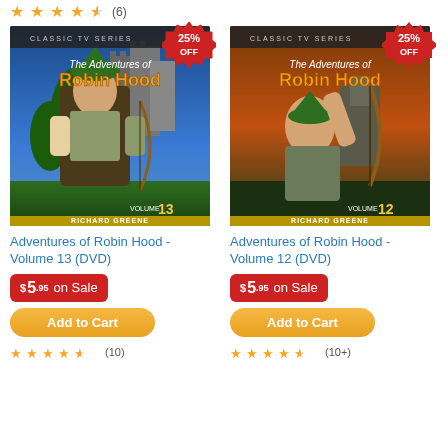[Figure (other): Top partial star rating strip with 4 gold stars and partial star, count (6)]
[Figure (photo): DVD cover: The Adventures of Robin Hood Volume 13, starring Richard Greene, with a 25% OFF badge]
Adventures of Robin Hood - Volume 13 (DVD)
$5.95 on Sale
Add to Cart
(10)
[Figure (photo): DVD cover: The Adventures of Robin Hood Volume 12, starring Richard Greene, with a 25% OFF badge]
Adventures of Robin Hood - Volume 12 (DVD)
$5.95 on Sale
Add to Cart
(10+)